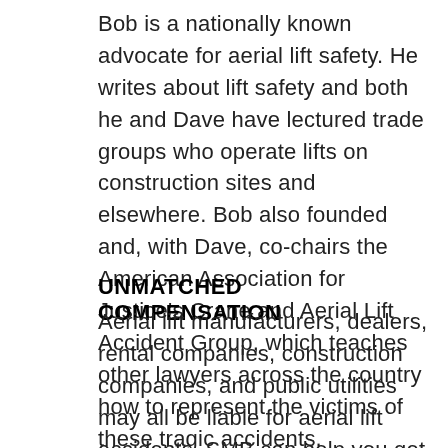Bob is a nationally known advocate for aerial lift safety. He writes about lift safety and both he and Dave have lectured trade groups who operate lifts on construction sites and elsewhere. Bob also founded and, with Dave, co-chairs the American Association for Justice's Crane and Aerial Lift Accident Group, which teaches other lawyers across the country how to represent the victims of these tragic accidents.
UNMATCHED COMPENSATION
Aerial lift manufacturers, dealers, rental companies, construction companies, and public utilities may all be liable for aerial lift accidents. SMB can help you get all the compensation to which you may be entitled–including payments for pain and